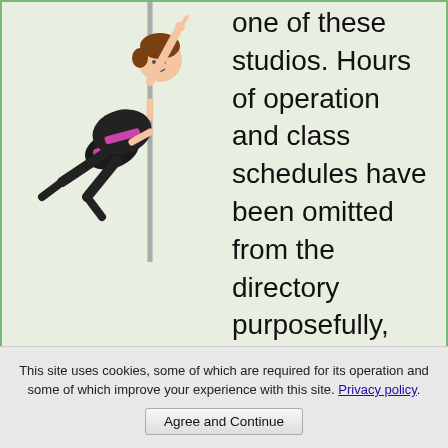[Figure (illustration): Cartoon illustration of a woman in black and pink outfit performing pole dancing, holding onto a vertical pole and extending her body horizontally]
one of these studios. Hours of operation and class schedules have been omitted from the directory purposefully, because these can and do change frequently
This site uses cookies, some of which are required for its operation and some of which improve your experience with this site. Privacy policy. Agree and Continue